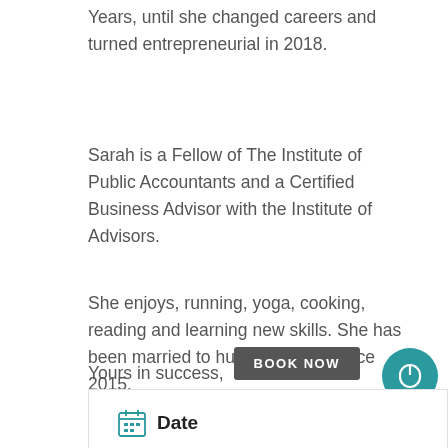Years, until she changed careers and turned entrepreneurial in 2018.
Sarah is a Fellow of The Institute of Public Accountants and a Certified Business Advisor with the Institute of Advisors.
She enjoys, running, yoga, cooking, reading and learning new skills. She has been married to husband Peter since 2015.
Yours in success,
The SOL Results Team